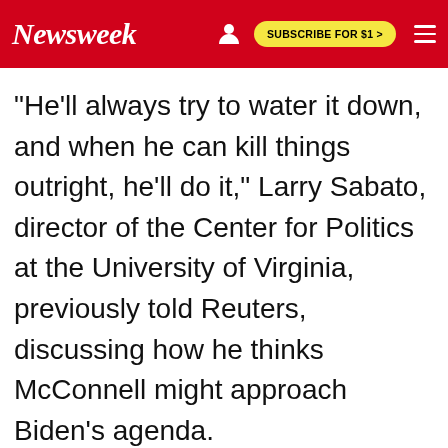Newsweek | SUBSCRIBE FOR $1 >
"He'll always try to water it down, and when he can kill things outright, he'll do it," Larry Sabato, director of the Center for Politics at the University of Virginia, previously told Reuters, discussing how he thinks McConnell might approach Biden's agenda.